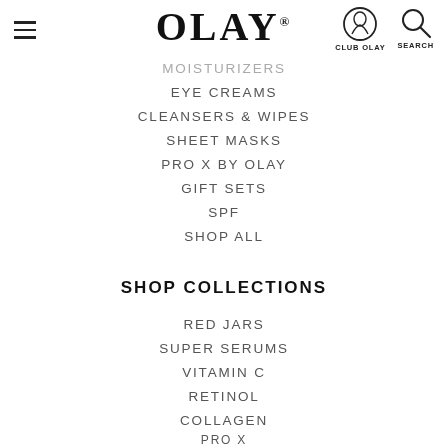OLAY — navigation header with hamburger menu, Club Olay icon, and Search icon
MOISTURIZERS
EYE CREAMS
CLEANSERS & WIPES
SHEET MASKS
PRO X BY OLAY
GIFT SETS
SPF
SHOP ALL
SHOP COLLECTIONS
RED JARS
SUPER SERUMS
VITAMIN C
RETINOL
COLLAGEN
PRO X
SHEET MASKS